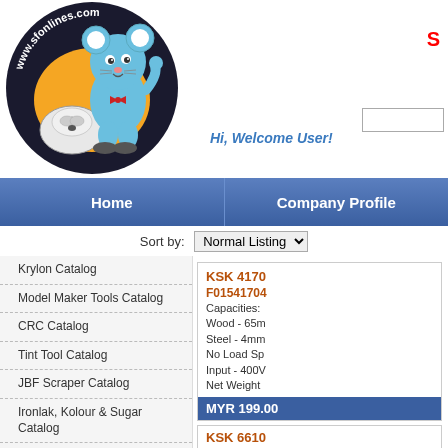[Figure (logo): www.sfonlines.com logo with cartoon mouse mascot holding computer mouse on dark circular background]
Hi, Welcome User!
S
[Figure (screenshot): Search input box]
Home | Company Profile
Sort by: Normal Listing
Krylon Catalog
Model Maker Tools Catalog
CRC Catalog
Tint Tool Catalog
JBF Scraper Catalog
Ironlak, Kolour & Sugar Catalog
Tint Film Installation Tools
Art & Model Maker Tools & Accessories
Adhesives, Waterproofing, Sealants & T...
KSK 4170
F01541704
Capacities:
Wood - 65m
Steel - 4mm
No Load Sp
Input - 400V
Net Weight
MYR 199.00
KSK 6610